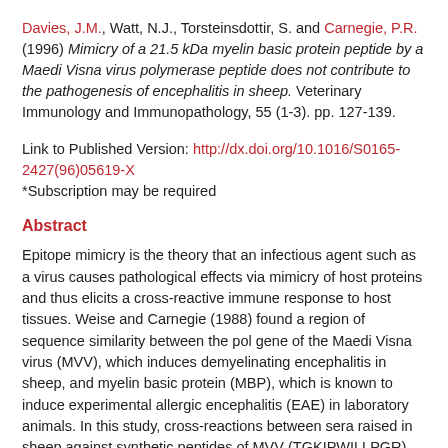Davies, J.M., Watt, N.J., Torsteinsdottir, S. and Carnegie, P.R. (1996) Mimicry of a 21.5 kDa myelin basic protein peptide by a Maedi Visna virus polymerase peptide does not contribute to the pathogenesis of encephalitis in sheep. Veterinary Immunology and Immunopathology, 55 (1-3). pp. 127-139.
Link to Published Version: http://dx.doi.org/10.1016/S0165-2427(96)05619-X
*Subscription may be required
Abstract
Epitope mimicry is the theory that an infectious agent such as a virus causes pathological effects via mimicry of host proteins and thus elicits a cross-reactive immune response to host tissues. Weise and Carnegie (1988) found a region of sequence similarity between the pol gene of the Maedi Visna virus (MVV), which induces demyelinating encephalitis in sheep, and myelin basic protein (MBP), which is known to induce experimental allergic encephalitis (EAE) in laboratory animals. In this study, cross-reactions between sera raised in sheep against synthetic peptides of MVV (TGKIPWILLPGR) and 21.5 kDa MBP (SGKVPWLKPGR) were